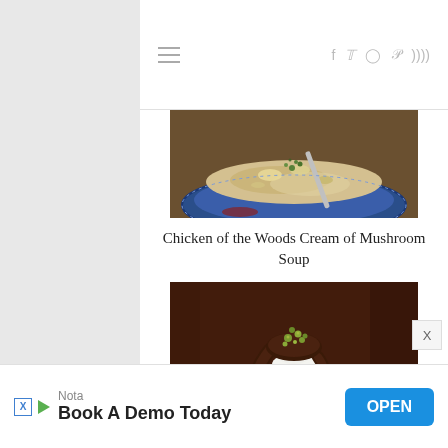Navigation header with hamburger menu and social icons (f, twitter, instagram, pinterest, rss)
[Figure (photo): A bowl of cream soup with chunks of chicken of the woods mushroom, garnished with herbs, in a blue and white patterned bowl with a spoon]
Chicken of the Woods Cream of Mushroom Soup
[Figure (photo): A cupcake with white frosting topped with chocolate ganache drizzle and pistachio sprinkles, in a red and white striped paper cup, on a dark wood background]
Nota — Book A Demo Today — OPEN